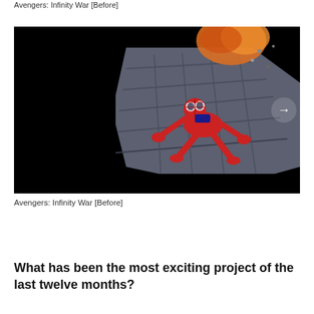Avengers: Infinity War [Before]
[Figure (screenshot): Movie still from Avengers: Infinity War showing Spider-Man in red suit crawling on a large structure or spaceship surface with explosions and debris in background. A white right-arrow navigation button is visible on the right side of the black-bordered image frame.]
Avengers: Infinity War [Before]
What has been the most exciting project of the last twelve months?